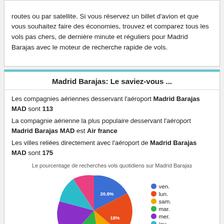routes ou par satellite. Si vous réservez un billet d'avion et que vous souhaitez faire des économies, trouvez et comparez tous les vols pas chers, de dernière minute et réguliers pour Madrid Barajas avec le moteur de recherche rapide de vols.
Madrid Barajas: Le saviez-vous ...
Les compagnies aériennes desservant l'aéroport Madrid Barajas MAD sont 113
La compagnie aérienne la plus populaire desservant l'aéroport Madrid Barajas MAD est Air france
Les villes reliées directement avec l'aéroport de Madrid Barajas MAD sont 175
Le pourcentage de recherches vols quotidiens sur Madrid Barajas
[Figure (pie-chart): Le pourcentage de recherches vols quotidiens sur Madrid Barajas]